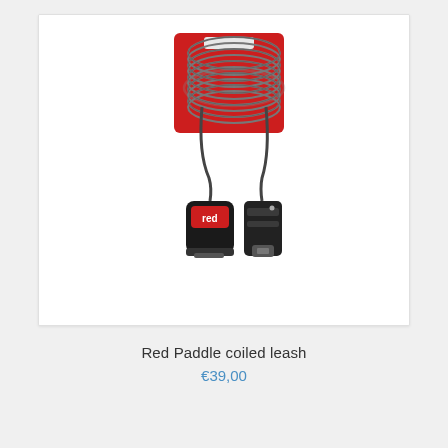[Figure (photo): Red Paddle coiled leash product photo showing a coiled cord leash with red brand tag, black ankle strap, and board attachment clip, mounted on a red card backing.]
Red Paddle coiled leash
€39,00